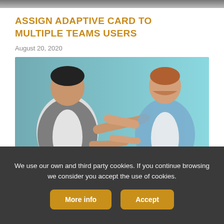[Figure (photo): Partial top image strip showing the bottom edge of a photo (people at a table or similar scene)]
ASSIGN ADAPTIVE CARD TO MULTIPLE TEAMS USERS
August 20, 2020
[Figure (photo): Two men on a light blue background pointing at each other. Man on the left wears a plaid shirt over a white t-shirt; man on the right wears a blue denim shirt. Both are pointing fingers at each other.]
We use our own and third party cookies. If you continue browsing we consider you accept the use of cookies.
More info
Accept